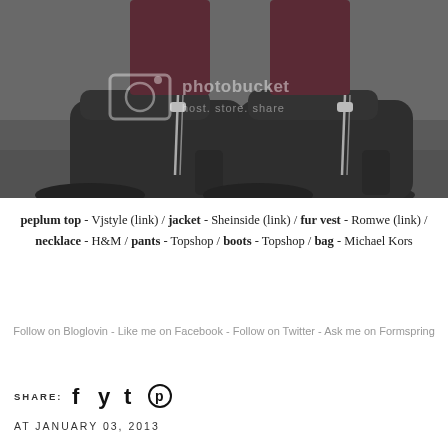[Figure (photo): Close-up photo of black leather ankle boots with silver zipper on pavement, worn with dark maroon pants. Photobucket watermark overlay.]
peplum top - Vjstyle (link) / jacket - Sheinside (link) / fur vest - Romwe (link) / necklace - H&M / pants - Topshop / boots - Topshop / bag - Michael Kors
Follow on Bloglovin - Like me on Facebook - Follow on Twitter - Ask me on Formspring
SHARE:
AT JANUARY 03, 2013